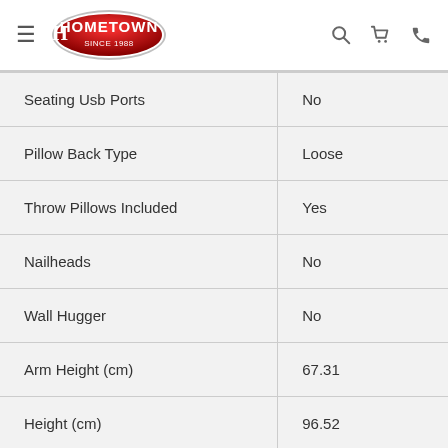Hometown Since 1988
| Feature | Value |
| --- | --- |
| Seating Usb Ports | No |
| Pillow Back Type | Loose |
| Throw Pillows Included | Yes |
| Nailheads | No |
| Wall Hugger | No |
| Arm Height (cm) | 67.31 |
| Height (cm) | 96.52 |